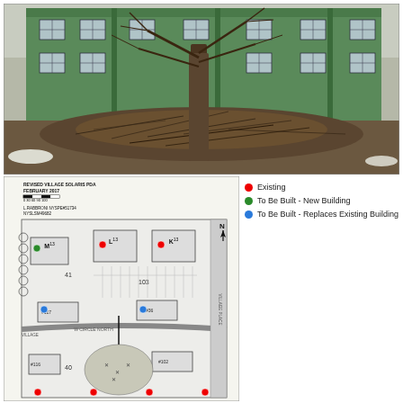[Figure (photo): Photograph of a green building exterior (multi-story apartment or dormitory) with solar panels or windows visible on the facade; a large bare tree stands in front and dead brush/debris is piled at the base; snow visible on the ground]
[Figure (map): Site plan map labeled 'REVISED VILLAGE SOLARIS PDA FEBRUARY 2017' with scale bar, surveyor stamp (L. RABBRONI NYSPE#51734, NYSLSM49682), showing buildings labeled M, L, K, #117, #36, #116, #102, and numbered lots 41, 103, 40; roads including Circle North and Village Place; colored dots indicating building status (red=Existing, green=To Be Built New Building, blue=To Be Built Replaces Existing Building)]
Existing
To Be Built - New Building
To Be Built - Replaces Existing Building